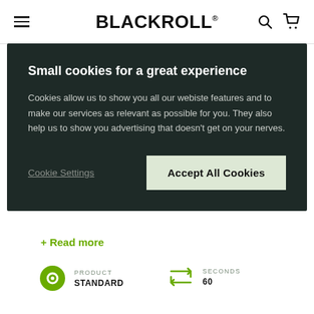BLACKROLL®
Small cookies for a great experience
Cookies allow us to show you all our webiste features and to make our services as relevant as possible for you. They also help us to show you advertising that doesn't get on your nerves.
Cookie Settings
Accept All Cookies
+ Read more
PRODUCT
STANDARD
SECONDS
60
BODY PART
UPPER BACK
TRAINING GOALS
RECOVERY, MOBILITY